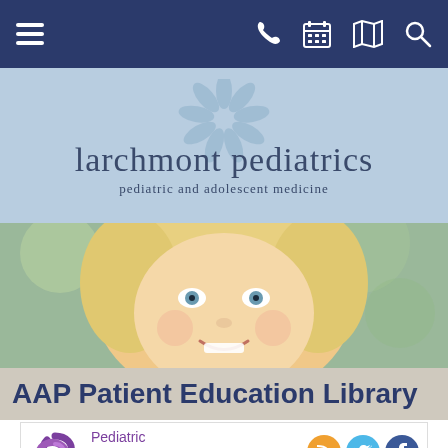[Figure (screenshot): Navigation bar with hamburger menu icon on left and phone, calendar, map, and search icons on right, dark navy background]
[Figure (logo): Larchmont Pediatrics logo on light blue background. Text reads 'larchmont pediatrics' with subtitle 'pediatric and adolescent medicine' and a decorative snowflake/flower graphic]
[Figure (photo): Close-up photo of a smiling young blonde child with blue eyes]
AAP Patient Education Library
[Figure (logo): Pediatric Patient Education logo (purple swirl) with text 'Pediatric Patient Education' in purple, and RSS, Twitter, and Facebook social media icons. Subtitle: Expert advice from the American Academy of Pediatrics]